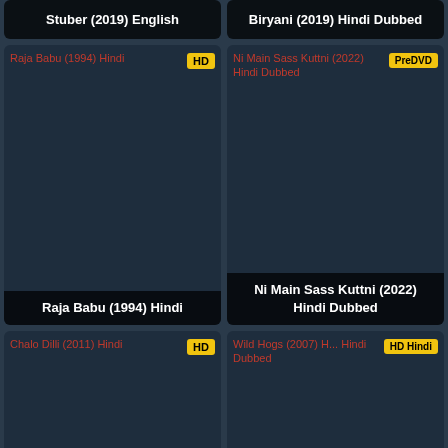[Figure (screenshot): Movie listing grid showing film thumbnails with titles and quality badges]
Stuber (2019) English
Biryani (2019) Hindi Dubbed
[Figure (screenshot): Raja Babu (1994) Hindi movie card with HD badge]
Raja Babu (1994) Hindi
[Figure (screenshot): Ni Main Sass Kuttni (2022) Hindi Dubbed movie card with PreDVD badge]
Ni Main Sass Kuttni (2022) Hindi Dubbed
[Figure (screenshot): Chalo Dilli (2011) Hindi movie card with HD badge]
[Figure (screenshot): Wild Hogs (2007) HD Hindi Dubbed movie card with HD Hindi badge]